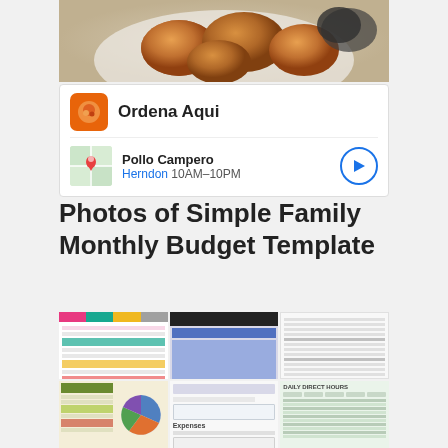[Figure (photo): Fried chicken nuggets on a plate, top portion cropped]
[Figure (screenshot): Ordena Aqui ad card for Pollo Campero, Herndon, 10AM-10PM with map thumbnail and navigation button]
Photos of Simple Family Monthly Budget Template
[Figure (screenshot): Grid of 9 thumbnail screenshots showing various Simple Family Monthly Budget Template spreadsheet layouts in different styles and colors]